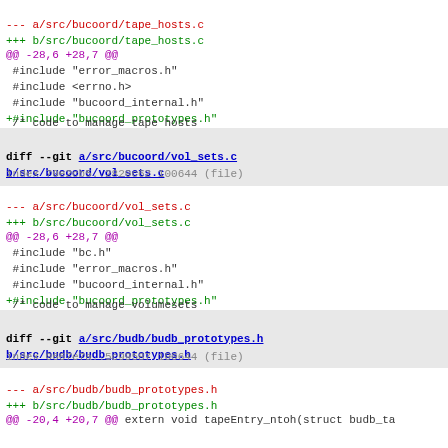--- a/src/bucoord/tape_hosts.c
+++ b/src/bucoord/tape_hosts.c
@@ -28,6 +28,7 @@
 #include "error_macros.h"
 #include <errno.h>
 #include "bucoord_internal.h"
+#include "bucoord_prototypes.h"
/* code to manage tape hosts
   * specific to the ubik database implementation
diff --git a/src/bucoord/vol_sets.c b/src/bucoord/vol_sets.c
index 70e2cb5..2820c62 100644 (file)
--- a/src/bucoord/vol_sets.c
+++ b/src/bucoord/vol_sets.c
@@ -28,6 +28,7 @@
 #include "bc.h"
 #include "error_macros.h"
 #include "bucoord_internal.h"
+#include "bucoord_prototypes.h"
/* code to manage volumesets
   * specific to the ubik database implementation
diff --git a/src/budb/budb_prototypes.h b/src/budb/budb_prototypes.h
index 0667e7a..5c99587 100644 (file)
--- a/src/budb/budb_prototypes.h
+++ b/src/budb/budb_prototypes.h
@@ -20,4 +20,7 @@ extern void tapeEntry_ntoh(struct budb_ta